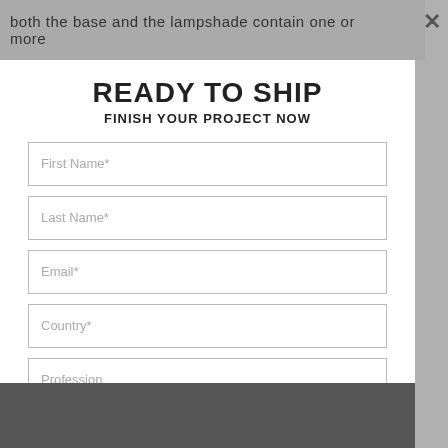both the base and the lampshade contain one or more
READY TO SHIP
FINISH YOUR PROJECT NOW
First Name*
Last Name*
Email*
Country*
Profession
I HAVE READ AND ACCEPT YOUR PRIVACY POLICY*
DOWNLOAD